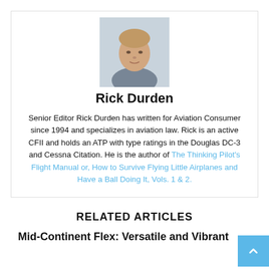[Figure (photo): Headshot photo of Rick Durden, a middle-aged man with reddish-blond hair, wearing a jacket, photographed outdoors.]
Rick Durden
Senior Editor Rick Durden has written for Aviation Consumer since 1994 and specializes in aviation law. Rick is an active CFII and holds an ATP with type ratings in the Douglas DC-3 and Cessna Citation. He is the author of The Thinking Pilot's Flight Manual or, How to Survive Flying Little Airplanes and Have a Ball Doing It, Vols. 1 & 2.
RELATED ARTICLES
Mid-Continent Flex: Versatile and Vibrant